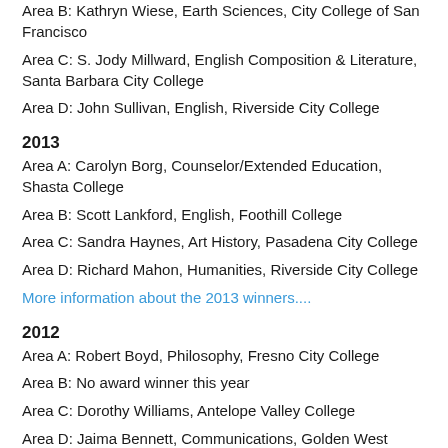Area B: Kathryn Wiese, Earth Sciences, City College of San Francisco
Area C: S. Jody Millward, English Composition & Literature, Santa Barbara City College
Area D: John Sullivan, English, Riverside City College
2013
Area A: Carolyn Borg, Counselor/Extended Education, Shasta College
Area B: Scott Lankford, English, Foothill College
Area C: Sandra Haynes, Art History, Pasadena City College
Area D: Richard Mahon, Humanities, Riverside City College
More information about the 2013 winners....
2012
Area A: Robert Boyd, Philosophy, Fresno City College
Area B: No award winner this year
Area C: Dorothy Williams, Antelope Valley College
Area D: Jaima Bennett, Communications, Golden West